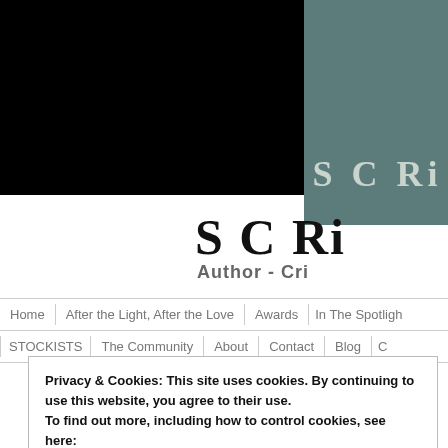[Figure (photo): Header image split: left side is black/dark, right side shows a teal/green textured background with partial text 'S C Ri' in pale letters]
S C Ri
Author - Cri
Home | After the Light, After the Love | Awards | In The Spotlight | STOCKISTS | The Community | About | Contact | Blog | C
Privacy & Cookies: This site uses cookies. By continuing to use this website, you agree to their use.
To find out more, including how to control cookies, see here:
Cookie Policy
Close and accept
A Message from Alex